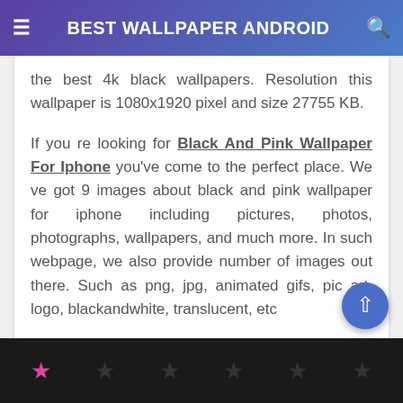BEST WALLPAPER ANDROID
the best 4k black wallpapers. Resolution this wallpaper is 1080x1920 pixel and size 27755 KB.
If you re looking for Black And Pink Wallpaper For Iphone you've come to the perfect place. We ve got 9 images about black and pink wallpaper for iphone including pictures, photos, photographs, wallpapers, and much more. In such webpage, we also provide number of images out there. Such as png, jpg, animated gifs, pic art, logo, blackandwhite, translucent, etc